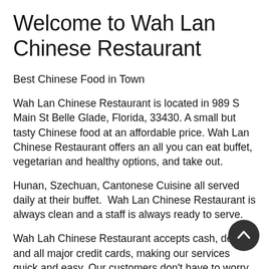Welcome to Wah Lan Chinese Restaurant
Best Chinese Food in Town
Wah Lan Chinese Restaurant is located in 989 S Main St Belle Glade, Florida, 33430. A small but tasty Chinese food at an affordable price. Wah Lan Chinese Restaurant offers an all you can eat buffet, vegetarian and healthy options, and take out.
Hunan, Szechuan, Cantonese Cuisine all served daily at their buffet.  Wah Lan Chinese Restaurant is always clean and a staff is always ready to serve.
Wah Lah Chinese Restaurant accepts cash, debit, and all major credit cards, making our services quick and easy. Our customers don't have to worry about parking. With serving hours 10 am to 10 pm, we will satisfy you from lunch, snacks to dinner.